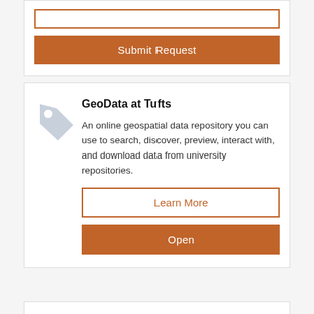[Figure (screenshot): Partial top card showing an input field with orange border and a Submit Request orange button]
Submit Request
[Figure (illustration): Light blue/grey tag icon representing geospatial data tagging]
GeoData at Tufts
An online geospatial data repository you can use to search, discover, preview, interact with, and download data from university repositories.
Learn More
Open